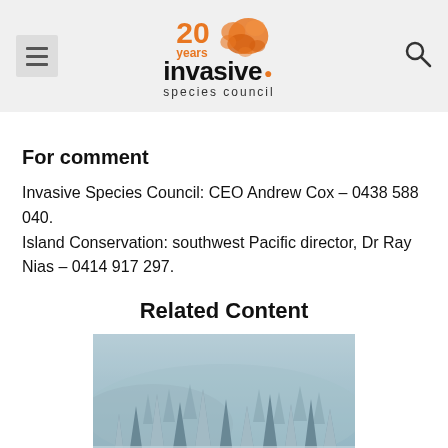Invasive Species Council — 20 years logo with hamburger menu and search icon
For comment
Invasive Species Council: CEO Andrew Cox – 0438 588 040.
Island Conservation: southwest Pacific director, Dr Ray Nias – 0414 917 297.
Related Content
[Figure (photo): A snow-covered forest scene with conifer trees in a cold, wintry landscape with mist or fog in the background.]